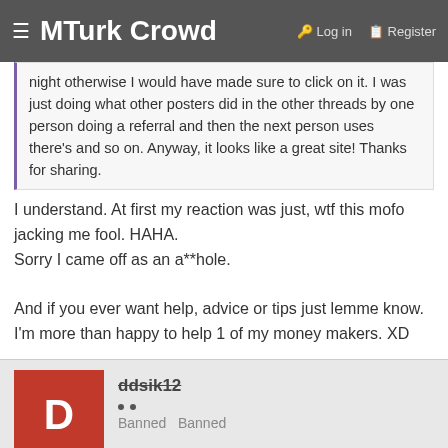≡ MTurk Crowd  🔑 Log in  📋 Register
night otherwise I would have made sure to click on it. I was just doing what other posters did in the other threads by one person doing a referral and then the next person uses there's and so on. Anyway, it looks like a great site! Thanks for sharing.
I understand. At first my reaction was just, wtf this mofo jacking me fool. HAHA.
Sorry I came off as an a**hole.

And if you ever want help, advice or tips just lemme know. I'm more than happy to help 1 of my money makers. XD
ddsik12
Banned  Banned
Aug 24, 2018  #11
Simple Layout